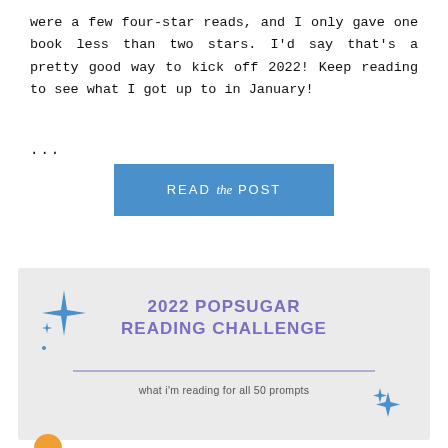were a few four-star reads, and I only gave one book less than two stars. I'd say that's a pretty good way to kick off 2022! Keep reading to see what I got up to in January!
...
[Figure (other): Blue rectangular button with text 'READ the POST' where 'the' is in italic script style]
[Figure (illustration): Light gray card with purple bold text '2022 POPSUGAR READING CHALLENGE', a thin purple horizontal divider line, subtitle text 'what i'm reading for all 50 prompts', blue sparkle/star decorations on left and right sides]